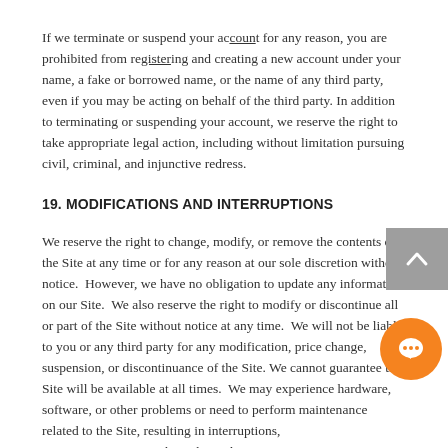If we terminate or suspend your account for any reason, you are prohibited from registering and creating a new account under your name, a fake or borrowed name, or the name of any third party, even if you may be acting on behalf of the third party. In addition to terminating or suspending your account, we reserve the right to take appropriate legal action, including without limitation pursuing civil, criminal, and injunctive redress.
19. MODIFICATIONS AND INTERRUPTIONS
We reserve the right to change, modify, or remove the contents of the Site at any time or for any reason at our sole discretion without notice.  However, we have no obligation to update any information on our Site.  We also reserve the right to modify or discontinue all or part of the Site without notice at any time.  We will not be liable to you or any third party for any modification, price change, suspension, or discontinuance of the Site. We cannot guarantee the Site will be available at all times.  We may experience hardware, software, or other problems or need to perform maintenance related to the Site, resulting in interruptions, delays, or errors.  We reserve the right to change, revise, update, suspend, discontinue, or otherwise modify